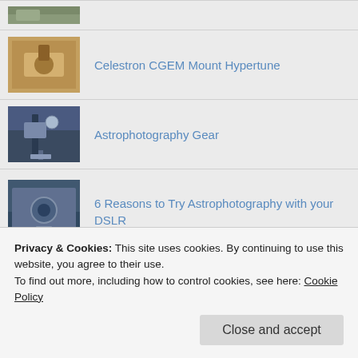[Figure (photo): Partial thumbnail image at top, cropped]
Celestron CGEM Mount Hypertune
[Figure (photo): Thumbnail image of astrophotography gear on tripod]
Astrophotography Gear
[Figure (photo): Thumbnail image for DSLR astrophotography article]
6 Reasons to Try Astrophotography with your DSLR
[Figure (photo): Thumbnail image for NASA impulse engine article]
NASA Has A Possible Impulse Engine, Not A Warp Drive
CATEGORIES
Comets (3)
Privacy & Cookies: This site uses cookies. By continuing to use this website, you agree to their use.
To find out more, including how to control cookies, see here: Cookie Policy
Close and accept